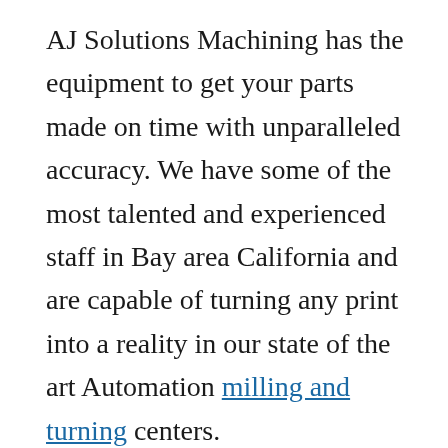AJ Solutions Machining has the equipment to get your parts made on time with unparalleled accuracy. We have some of the most talented and experienced staff in Bay area California and are capable of turning any print into a reality in our state of the art Automation milling and turning centers.

AJ Solutions provides unique & precision services in our machine shop in Fremont CA. We also offer our industry standard plastic fabrication. We strive to